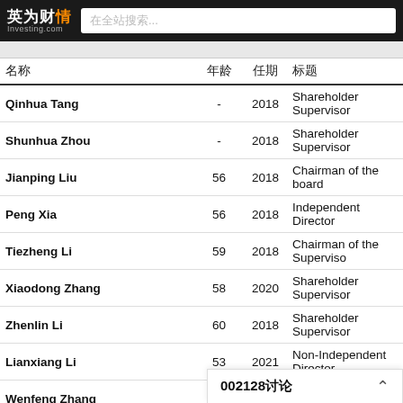英为财情 Investing.com — 在全站搜索...
| 名称 | 年龄 | 任期 | 标题 |
| --- | --- | --- | --- |
| Qinhua Tang | - | 2018 | Shareholder Supervisor |
| Shunhua Zhou | - | 2018 | Shareholder Supervisor |
| Jianping Liu | 56 | 2018 | Chairman of the board |
| Peng Xia | 56 | 2018 | Independent Director |
| Tiezheng Li | 59 | 2018 | Chairman of the Supervisory |
| Xiaodong Zhang | 58 | 2020 | Shareholder Supervisor |
| Zhenlin Li | 60 | 2018 | Shareholder Supervisor |
| Lianxiang Li | 53 | 2021 | Non-Independent Director |
| Wenfeng Zhang | 59 | 2019 | Non-Independent Director |
| Rui Shen | 60 | 2019 | Non-Independent Director |
| Tianxiang Chen | 56 | 2021 | Independent Director |
| Fenglei Liu | 56 | 2020 | Shareholder Supervisor |
| Fang Han | 59 | 2021 | Independent Director |
| Yang Tao | 42 | 2021 | Independent Director |
| Xinci Zuo |  |  |  |
| Leihong Chen |  |  |  |
002128讨论